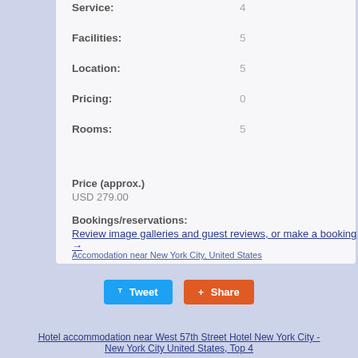Service: 4
Facilities: 5
Location: 5
Pricing: 0
Rooms: 5
Price (approx.)
USD 279.00
Bookings/reservations:
Review image galleries and guest reviews, or make a booking →
Accomodation near New York City, United States
Tweet
Share
Hotel accommodation near West 57th Street Hotel New York City - New York City United States, Top 4